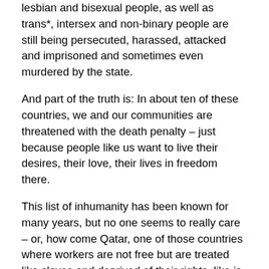lesbian and bisexual people, as well as trans*, intersex and non-binary people are still being persecuted, harassed, attacked and imprisoned and sometimes even murdered by the state.
And part of the truth is: In about ten of these countries, we and our communities are threatened with the death penalty – just because people like us want to live their desires, their love, their lives in freedom there.
This list of inhumanity has been known for many years, but no one seems to really care – or, how come Qatar, one of those countries where workers are not free but are treated like slaves and deprived of their rights, like is it that Qatar, one of those countries where women have no rights, how come that Qatar, one of those countries where homosexuals and queer people have to fear for their lives because they face the death penalty there, yes, how come it that Qatar will be allowed to